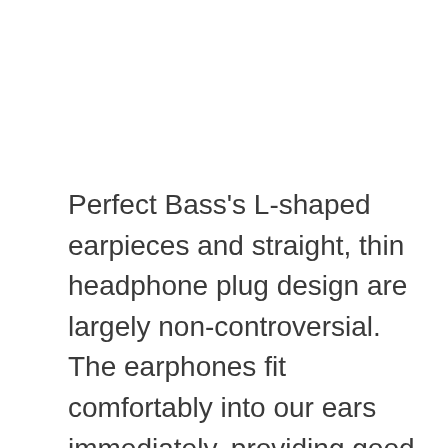Perfect Bass's L-shaped earpieces and straight, thin headphone plug design are largely non-controversial. The earphones fit comfortably into our ears immediately, providing good passive noise isolation, and we appreciated how light they were. They'll only be an issue for users who dislike over-the-ear cabling, and for users who need even more eartip options—many rivals include more sizes and/or foam tips, which are left out here. Phonak's headphone plug is small